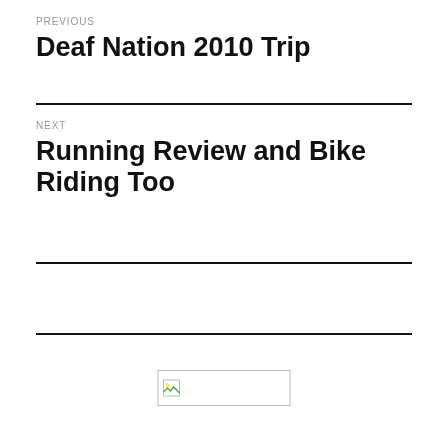PREVIOUS
Deaf Nation 2010 Trip
NEXT
Running Review and Bike Riding Too
[Figure (other): Broken image placeholder with a small image icon on left side]